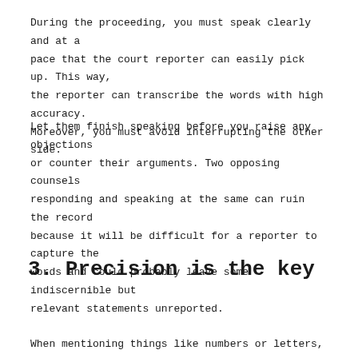During the proceeding, you must speak clearly and at a pace that the court reporter can easily pick up. This way, the reporter can transcribe the words with high accuracy. Moreover, you must avoid interrupting the other side.
Let them finish speaking before you raise any objections or counter their arguments. Two opposing counsels responding and speaking at the same can ruin the record because it will be difficult for a reporter to capture the words and could probably leave some indiscernible but relevant statements unreported.
3. Precision is the key
When mentioning things like numbers or letters, you have